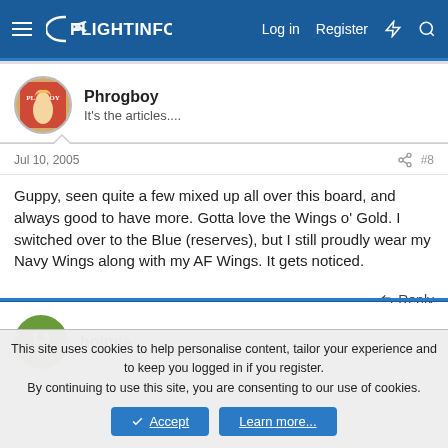FlightInfo — Log in   Register
Phrogboy
It's the articles....
Jul 10, 2005   #8
Guppy, seen quite a few mixed up all over this board, and always good to have more. Gotta love the Wings o' Gold. I switched over to the Blue (reserves), but I still proudly wear my Navy Wings along with my AF Wings. It gets noticed.
↩ Reply
holmie
This site uses cookies to help personalise content, tailor your experience and to keep you logged in if you register.
By continuing to use this site, you are consenting to our use of cookies.